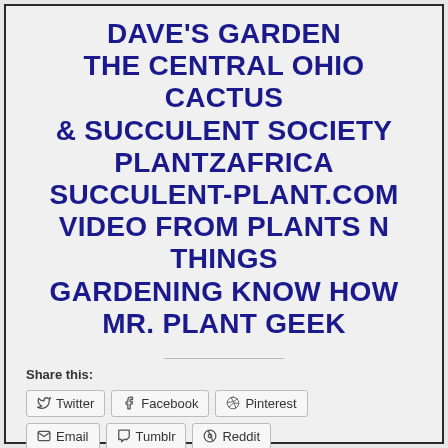DAVE'S GARDEN THE CENTRAL OHIO CACTUS & SUCCULENT SOCIETY PLANTZAFRICA SUCCULENT-PLANT.COM VIDEO FROM PLANTS N THINGS GARDENING KNOW HOW MR. PLANT GEEK
Share this:
Twitter  Facebook  Pinterest  Email  Tumblr  Reddit
Like
Be the first to like this.